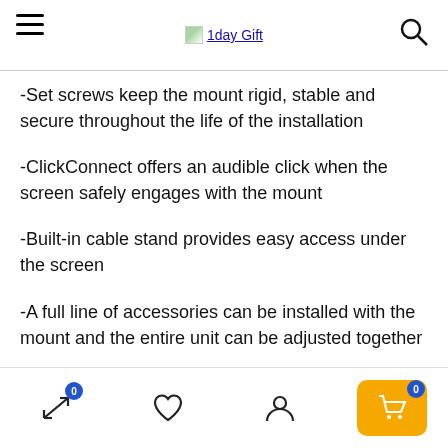1day Gift
-Set screws keep the mount rigid, stable and secure throughout the life of the installation
-ClickConnect offers an audible click when the screen safely engages with the mount
-Built-in cable stand provides easy access under the screen
-A full line of accessories can be installed with the mount and the entire unit can be adjusted together
Navigation bar with icons: compare (0), wishlist, account, cart (0)